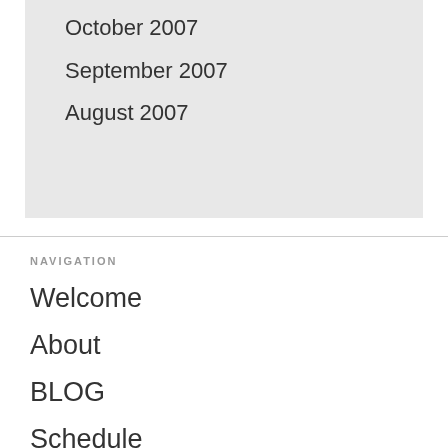October 2007
September 2007
August 2007
NAVIGATION
Welcome
About
BLOG
Schedule
Books
Listen
Docu